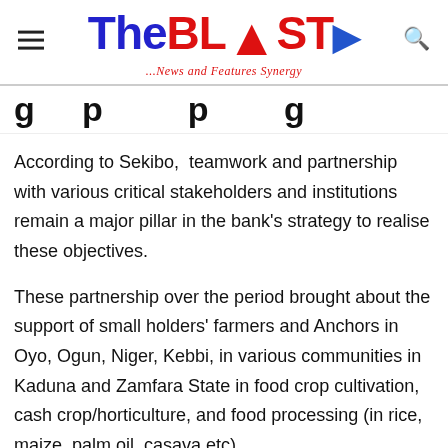TheBLAST ...News and Features Synergy
g...p...p...g
According to Sekibo,  teamwork and partnership with various critical stakeholders and institutions remain a major pillar in the bank’s strategy to realise these objectives.
These partnership over the period brought about the support of small holders’ farmers and Anchors in Oyo, Ogun, Niger, Kebbi, in various communities in Kaduna and Zamfara State in food crop cultivation, cash crop/horticulture, and food processing (in rice, maize, palm oil, casava etc)